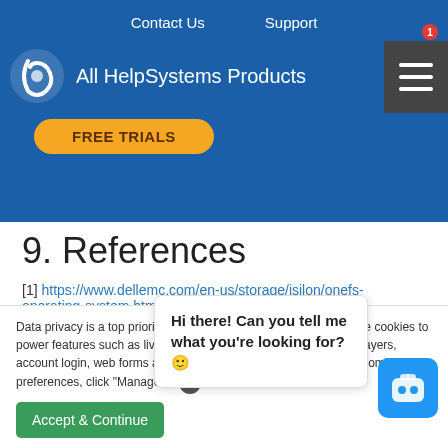Contact Us   Support
All HelpSystems Products
FREE TRIALS
9. References
[1] https://www.dellemc.com/en-us/storage/isilon/onefs-operating-system.htm
10. About CoreLabs
CoreLabs, the research center of Core Security, is charged with anticipating the future needs and requirements for
Data privacy is a top priority for us, and so is transparency. We use cookies to power features such as live chat, enhanced web security, video players, account login, web forms and analytics. For more details or to customize your preferences, click "Manage Cookie"
Accept & Continue
Hi there! Can you tell me what you're looking for? 😊